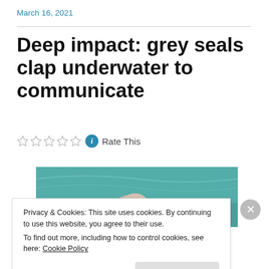March 16, 2021
Deep impact: grey seals clap underwater to communicate
☆☆☆☆☆ ℹ Rate This
[Figure (photo): A grey seal photographed underwater from below, head visible against a teal/green water background]
Privacy & Cookies: This site uses cookies. By continuing to use this website, you agree to their use.
To find out more, including how to control cookies, see here: Cookie Policy
Close and accept